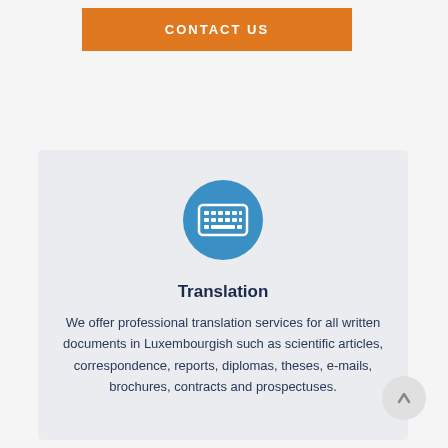CONTACT US
[Figure (illustration): Blue circle icon containing a white keyboard/translation icon]
Translation
We offer professional translation services for all written documents in Luxembourgish such as scientific articles, correspondence, reports, diplomas, theses, e-mails, brochures, contracts and prospectuses.